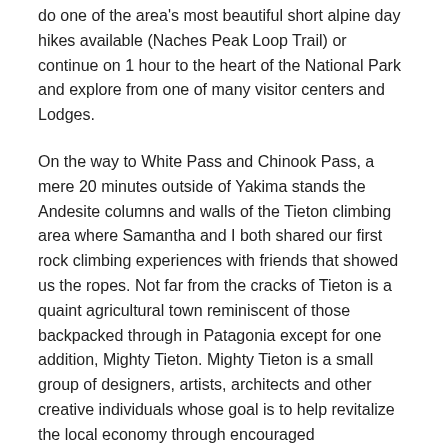do one of the area's most beautiful short alpine day hikes available (Naches Peak Loop Trail) or continue on 1 hour to the heart of the National Park and explore from one of many visitor centers and Lodges.
On the way to White Pass and Chinook Pass, a mere 20 minutes outside of Yakima stands the Andesite columns and walls of the Tieton climbing area where Samantha and I both shared our first rock climbing experiences with friends that showed us the ropes. Not far from the cracks of Tieton is a quaint agricultural town reminiscent of those backpacked through in Patagonia except for one addition, Mighty Tieton. Mighty Tieton is a small group of designers, artists, architects and other creative individuals whose goal is to help revitalize the local economy through encouraged entrepreneurship. Mighty Tieton brought the very first Mini Maker Faire to our area have been very helpful in the formative year of Yakima Maker Space.
Oh, and what about the City of Yakima you ask? You know, that one that looked like a surface parking lot in a desert from that satellite imagery? Let us correct that original perspective...